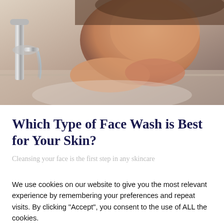[Figure (photo): Person washing their face at a sink with a chrome faucet, water running over hands near face, warm skin tones]
Which Type of Face Wash is Best for Your Skin?
Cleansing your face is the first step in any skincare...
We use cookies on our website to give you the most relevant experience by remembering your preferences and repeat visits. By clicking “Accept”, you consent to the use of ALL the cookies.
Do not sell my personal information.
Cookie Settings
Accept
Read More